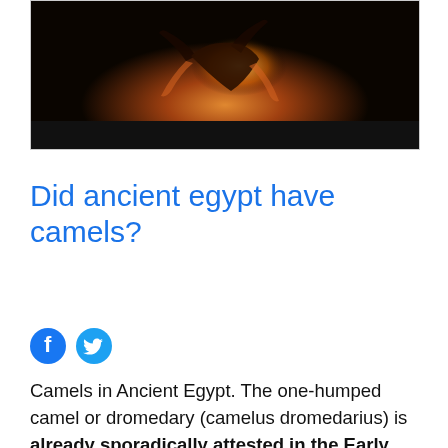[Figure (photo): A dark cinematic image showing a figure with glowing light effects against a dark background]
Did ancient egypt have camels?
[Figure (other): Facebook and Twitter social share icons]
Camels in Ancient Egypt. The one-humped camel or dromedary (camelus dromedarius) is already sporadically attested in the Early Dynastic Period, but it was not regularly used until much later. Foreign conquerors (Assyrians, Persians, Alexander the Great) brought the camel on a more large-scale to Egypt...